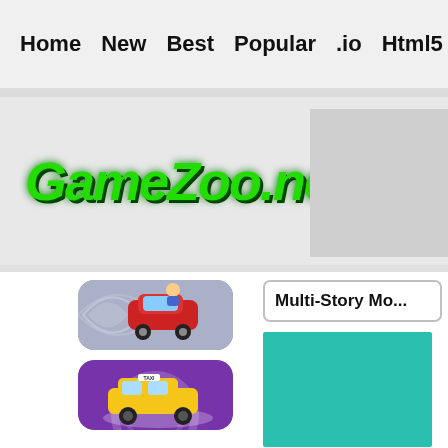Home  New  Best  Popular  .io  Html5  Action  Funny  Classic  S
[Figure (logo): GameZoo.net logo in large bold italic green text with dark green shadow on light gray background]
Multi-Story Mo...
[Figure (photo): 3D isometric game thumbnail showing a red car with a person on top, gray background, rounded corners]
[Figure (photo): 3D game thumbnail showing a yellow taxi/car on purple swirled background, rounded corners]
[Figure (screenshot): Teal/turquoise colored game preview block, partially visible]